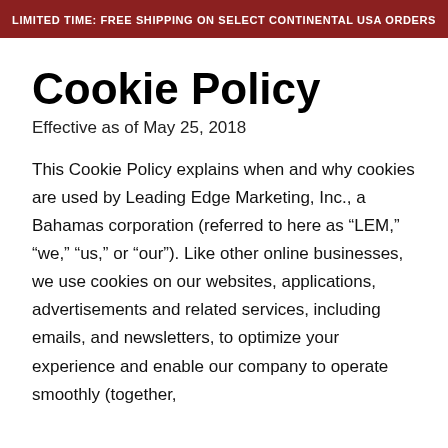LIMITED TIME: FREE SHIPPING ON SELECT CONTINENTAL USA ORDERS
Cookie Policy
Effective as of May 25, 2018
This Cookie Policy explains when and why cookies are used by Leading Edge Marketing, Inc., a Bahamas corporation (referred to here as “LEM,” “we,” “us,” or “our”). Like other online businesses, we use cookies on our websites, applications, advertisements and related services, including emails, and newsletters, to optimize your experience and enable our company to operate smoothly (together,